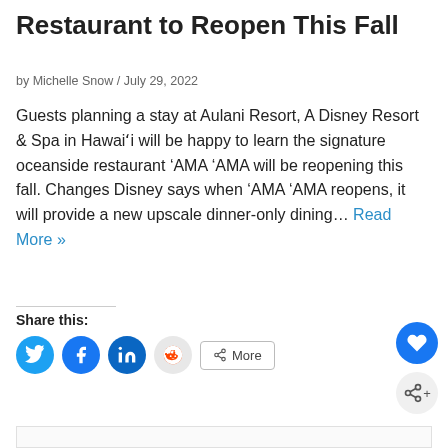Restaurant to Reopen This Fall
by Michelle Snow / July 29, 2022
Guests planning a stay at Aulani Resort, A Disney Resort & Spa in Hawai'i will be happy to learn the signature oceanside restaurant ‘AMA ‘AMA will be reopening this fall. Changes Disney says when ‘AMA ‘AMA reopens, it will provide a new upscale dinner-only dining… Read More »
Share this:
[Figure (infographic): Social share buttons: Twitter, Facebook, LinkedIn, Reddit, and a More button. Plus a heart/like button and a share button on the right side.]